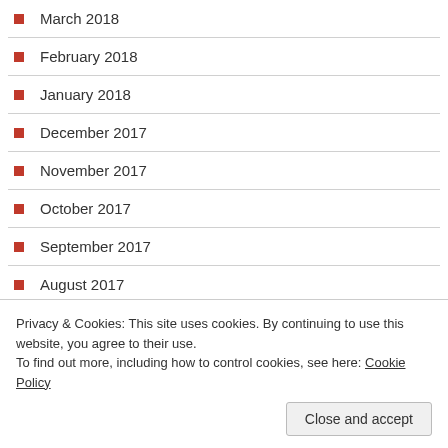March 2018
February 2018
January 2018
December 2017
November 2017
October 2017
September 2017
August 2017
July 2017
June 2017
May 2017
Privacy & Cookies: This site uses cookies. By continuing to use this website, you agree to their use. To find out more, including how to control cookies, see here: Cookie Policy
Close and accept